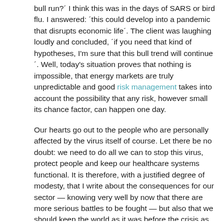bull run?´ I think this was in the days of SARS or bird flu. I answered: ´this could develop into a pandemic that disrupts economic life´. The client was laughing loudly and concluded, ´if you need that kind of hypotheses, I'm sure that this bull trend will continue´. Well, today's situation proves that nothing is impossible, that energy markets are truly unpredictable and good risk management takes into account the possibility that any risk, however small its chance factor, can happen one day.
Our hearts go out to the people who are personally affected by the virus itself of course. Let there be no doubt: we need to do all we can to stop this virus, protect people and keep our healthcare systems functional. It is therefore, with a justified degree of modesty, that I write about the consequences for our sector — knowing very well by now that there are more serious battles to be fought — but also that we should keep the world as it was before the crisis as alive as possible.
Unfortunately, this worldwide public health crisis threatens to develop into an economic crisis of unprecedented size. China, running a few months ahead of the rest of the world in terms of how this crisis develops, has seen a sharp economic decline.